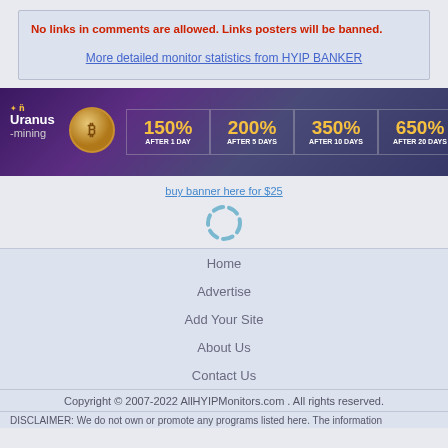No links in comments are allowed. Links posters will be banned.
More detailed monitor statistics from HYIP BANKER
[Figure (infographic): Uranus Mining banner ad showing investment returns: 150% after 1 day, 200% after 5 days, 350% after 10 days, 650% after 20 days, with logo and coin graphic]
buy banner here for $25
[Figure (other): Loading spinner icon (circular dashed ring)]
Home
Advertise
Add Your Site
About Us
Contact Us
Copyright © 2007-2022 AllHYIPMonitors.com . All rights reserved.
DISCLAIMER: We do not own or promote any programs listed here. The information